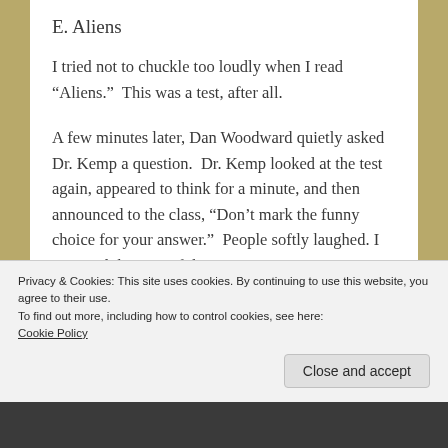E. Aliens
I tried not to chuckle too loudly when I read “Aliens.”  This was a test, after all.
A few minutes later, Dan Woodward quietly asked Dr. Kemp a question.  Dr. Kemp looked at the test again, appeared to think for a minute, and then announced to the class, “Don’t mark the funny choice for your answer.”  People softly laughed. I assumed that one of the
Privacy & Cookies: This site uses cookies. By continuing to use this website, you agree to their use.
To find out more, including how to control cookies, see here:
Cookie Policy
Close and accept